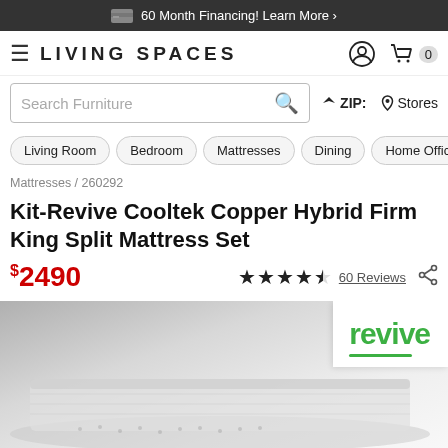60 Month Financing! Learn More ›
[Figure (logo): Living Spaces logo with hamburger menu icon]
Search Furniture
ZIP:   Stores
Living Room
Bedroom
Mattresses
Dining
Home Office
Kid
Mattresses / 260292
Kit-Revive Cooltek Copper Hybrid Firm King Split Mattress Set
$2490  ★★★★½  60 Reviews
[Figure (photo): Product image of Kit-Revive Cooltek Copper Hybrid Firm King Split Mattress with Revive brand badge in upper right corner]